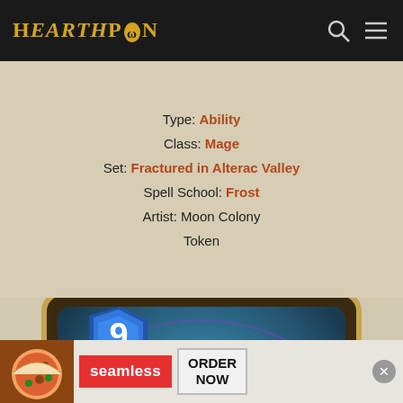HearthPwn
Type: Ability
Class: Mage
Set: Fractured in Alterac Valley
Spell School: Frost
Artist: Moon Colony
Token
[Figure (illustration): Hearthstone card 'Rune of the Archmage' with cost 9, showing a female mage character with red hair in purple and gold robes, surrounded by magical runes and a swirling portal background]
[Figure (photo): Seamless food delivery advertisement banner showing pizza with ORDER NOW button]